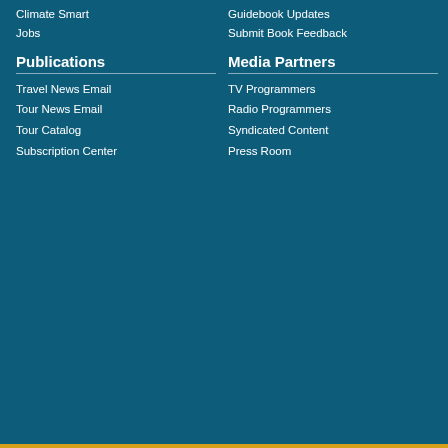Climate Smart
Jobs
Guidebook Updates
Submit Book Feedback
Publications
Travel News Email
Tour News Email
Tour Catalog
Subscription Center
Media Partners
TV Programmers
Radio Programmers
Syndicated Content
Press Room
Contact Us
[Figure (infographic): Contact Us icons: email, phone, location]
Follow Us
[Figure (infographic): Follow Us social media icons: Facebook, YouTube, Twitter, Pinterest, Instagram]